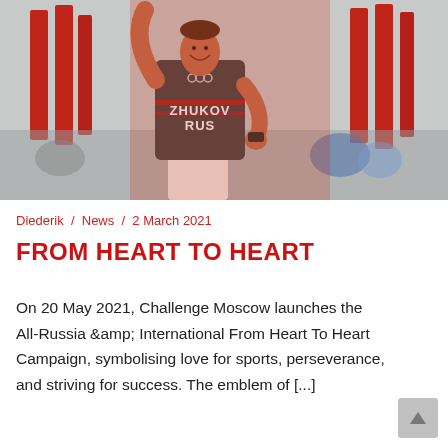[Figure (photo): Athlete in a dark triathlon suit labeled 'ZHUKOV RUS' running and celebrating with one arm raised, red banners in background, crowd visible]
Diederik / News / 2 March 2021
FROM HEART TO HEART
On 20 May 2021, Challenge Moscow launches the All-Russia &amp; International From Heart To Heart Campaign, symbolising love for sports, perseverance, and striving for success. The emblem of [...]